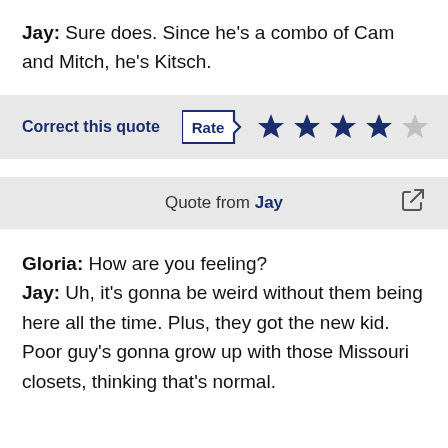Jay: Sure does. Since he's a combo of Cam and Mitch, he's Kitsch.
Correct this quote | Rate ★★★★☆
Quote from Jay
Gloria: How are you feeling? Jay: Uh, it's gonna be weird without them being here all the time. Plus, they got the new kid. Poor guy's gonna grow up with those Missouri closets, thinking that's normal.